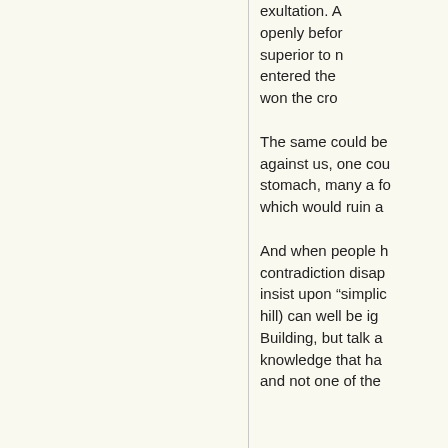exultation. A openly before superior to n entered the won the cro
The same could be against us, one cou stomach, many a fo which would ruin a
And when people h contradiction disap insist upon "simplic hill) can well be ig Building, but talk a knowledge that ha and not one of the